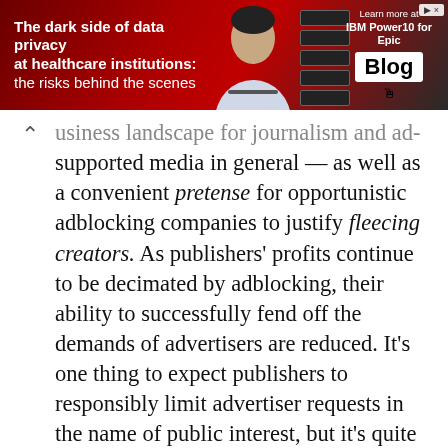[Figure (infographic): Advertisement banner: 'The dark side of data privacy at healthcare institutions: the risks behind the scenes' with IBM Power10 for Epic Blog promotion]
usiness landscape for journalism and ad-supported media in general — as well as a convenient pretense for opportunistic adblocking companies to justify fleecing creators. As publishers' profits continue to be decimated by adblocking, their ability to successfully fend off the demands of advertisers are reduced. It's one thing to expect publishers to responsibly limit advertiser requests in the name of public interest, but it's quite another to expect them to bite the hand that feeds them when their survival is increasingly at stake.